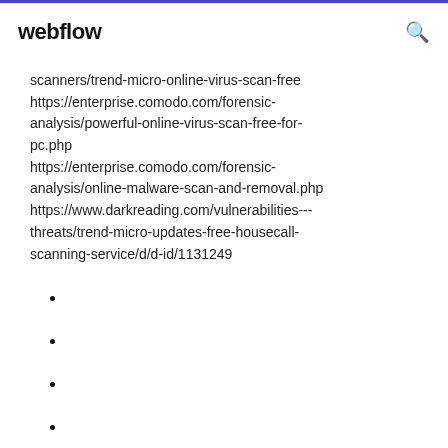webflow
scanners/trend-micro-online-virus-scan-free
https://enterprise.comodo.com/forensic-analysis/powerful-online-virus-scan-free-for-pc.php
https://enterprise.comodo.com/forensic-analysis/online-malware-scan-and-removal.php
https://www.darkreading.com/vulnerabilities---threats/trend-micro-updates-free-housecall-scanning-service/d/d-id/1131249